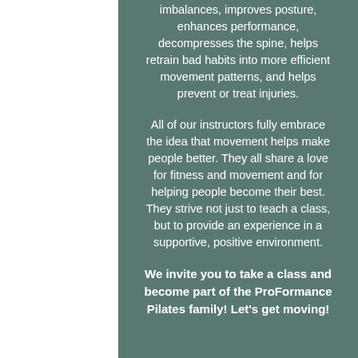imbalances, improves posture, enhances performance, decompresses the spine, helps retrain bad habits into more efficient movement patterns, and helps prevent or treat injuries.
All of our instructors fully embrace the idea that movement helps make people better. They all share a love for fitness and movement and for helping people become their best. They strive not just to teach a class, but to provide an experience in a supportive, positive environment.
We invite you to take a class and become part of the ProFormance Pilates family! Let's get moving!